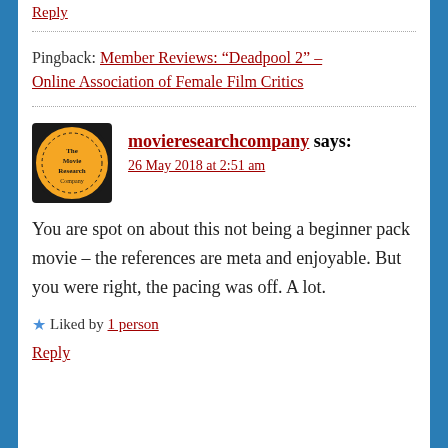Reply
Pingback: Member Reviews: “Deadpool 2” – Online Association of Female Film Critics
movieresearchcompany says: 26 May 2018 at 2:51 am
You are spot on about this not being a beginner pack movie – the references are meta and enjoyable. But you were right, the pacing was off. A lot.
★ Liked by 1 person
Reply